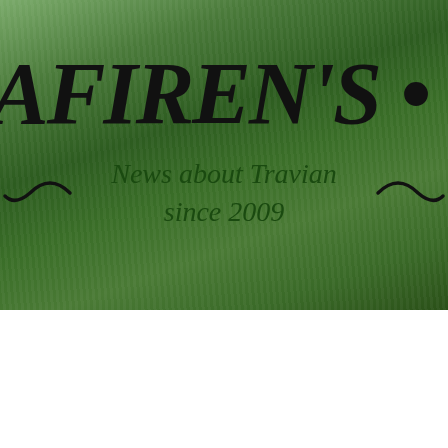[Figure (screenshot): Website header banner with dark green textured background. Shows partial site title 'AFIREN'S · COR' in large bold black italic serif font, with subtitle 'News about Travian since 2009' in dark green italic text, and decorative swirl ornaments on either side of the subtitle.]
MENU
Search ...
Category: Qualification